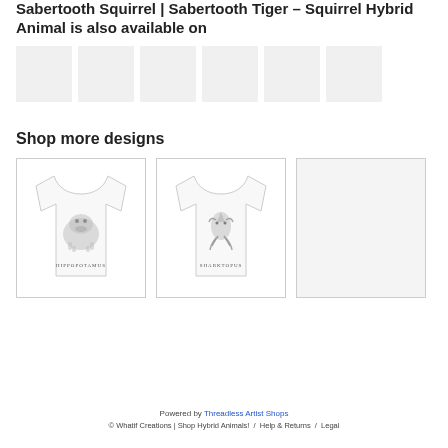Sabertooth Squirrel | Sabertooth Tiger – Squirrel Hybrid Animal is also available on
[Figure (photo): Row of six small product thumbnail images (light gray placeholders)]
Shop more designs
[Figure (photo): T-shirt with HIPPOPOTAMUS hybrid animal design illustration]
[Figure (photo): T-shirt with SHARKTOPUS hybrid animal design illustration]
[Figure (photo): Blank/loading product image placeholder (gray)]
Powered by Threadless Artist Shops
© Whatif Creations | Shop Hybrid Animals! / Help & Returns / Legal